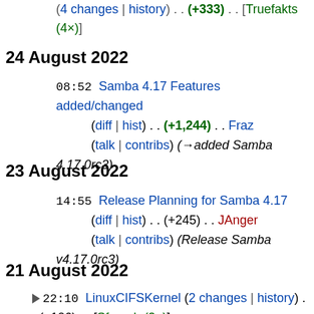(4 changes | history) . . (+333) . . [Truefakts (4×)]
24 August 2022
08:52  Samba 4.17 Features added/changed (diff | hist) . . (+1,244) . . Fraz (talk | contribs) (→added Samba 4.17.0rc3)
23 August 2022
14:55  Release Planning for Samba 4.17 (diff | hist) . . (+245) . . JAnger (talk | contribs) (Release Samba v4.17.0rc3)
21 August 2022
22:10  LinuxCIFSKernel (2 changes | history) . . (+106) . . [Sfrench (2×)]